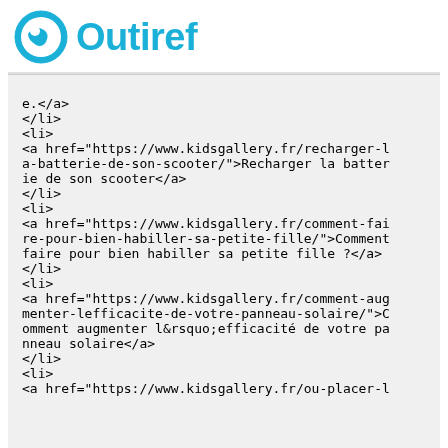Outiref
e.</a>
</li>
<li>
<a href="https://www.kidsgallery.fr/recharger-la-batterie-de-son-scooter/">Recharger la batterie de son scooter</a>
</li>
<li>
<a href="https://www.kidsgallery.fr/comment-faire-pour-bien-habiller-sa-petite-fille/">Comment faire pour bien habiller sa petite fille ?</a>
</li>
<li>
<a href="https://www.kidsgallery.fr/comment-augmenter-lefficacite-de-votre-panneau-solaire/">Comment augmenter l&rsquo;efficacité de votre panneau solaire</a>
</li>
<li>
<a href="https://www.kidsgallery.fr/ou-placer-l